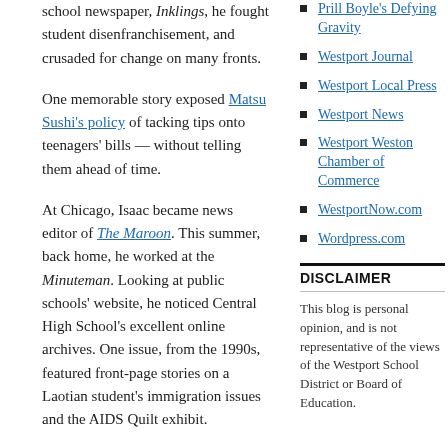school newspaper, Inklings, he fought student disenfranchisement, and crusaded for change on many fronts.
One memorable story exposed Matsu Sushi's policy of tacking tips onto teenagers' bills — without telling them ahead of time.
At Chicago, Isaac became news editor of The Maroon. This summer, back home, he worked at the Minuteman. Looking at public schools' website, he noticed Central High School's excellent online archives. One issue, from the 1990s, featured front-page stories on a Laotian student's immigration issues and the AIDS Quilt exhibit.
But, Isaac learned, the Criterion had been defunct since 2001, when Central's journalism
Prill Boyle's Defying Gravity
Westport Journal
Westport Local Press
Westport News
Westport Weston Chamber of Commerce
WestportNow.com
Wordpress.com
DISCLAIMER
This blog is personal opinion, and is not representative of the views of the Westport School District or Board of Education.